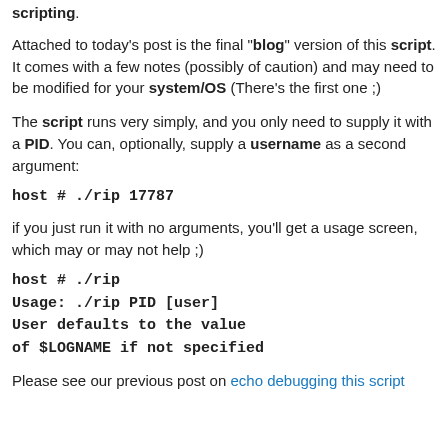scripting.
Attached to today's post is the final "blog" version of this script. It comes with a few notes (possibly of caution) and may need to be modified for your system/OS (There's the first one ;)
The script runs very simply, and you only need to supply it with a PID. You can, optionally, supply a username as a second argument:
host # ./rip 17787
if you just run it with no arguments, you'll get a usage screen, which may or may not help ;)
host # ./rip
Usage: ./rip PID [user]
User defaults to the value
of $LOGNAME if not specified
Please see our previous post on echo debugging this script